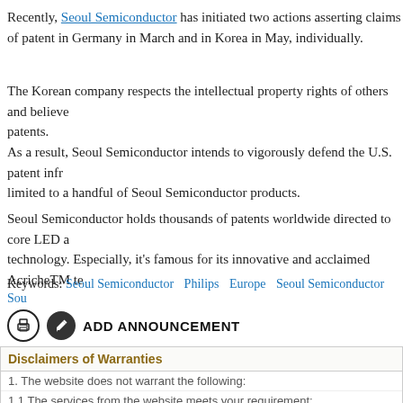Recently, Seoul Semiconductor has initiated two actions asserting claims of patent in Germany in March and in Korea in May, individually.
The Korean company respects the intellectual property rights of others and believes patents.
As a result, Seoul Semiconductor intends to vigorously defend the U.S. patent infringement limited to a handful of Seoul Semiconductor products.
Seoul Semiconductor holds thousands of patents worldwide directed to core LED technology. Especially, it's famous for its innovative and acclaimed AcricheTM te
Keywords: Seoul Semiconductor   Philips   Europe   Seoul Semiconductor   Sou
ADD ANNOUNCEMENT
Disclaimers of Warranties
1. The website does not warrant the following:
1.1 The services from the website meets your requirement;
1.2 The accuracy, completeness, or timeliness of the service;